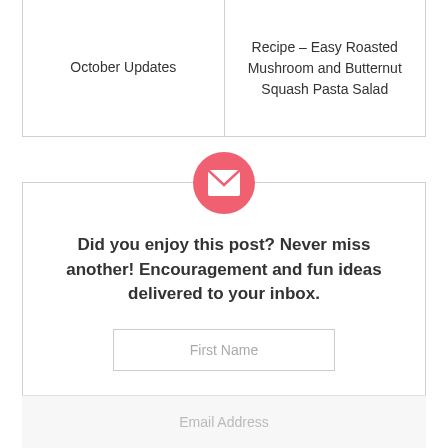October Updates
Recipe – Easy Roasted Mushroom and Butternut Squash Pasta Salad
[Figure (illustration): Pink circle with white envelope/mail icon]
Did you enjoy this post? Never miss another! Encouragement and fun ideas delivered to your inbox.
First Name
Email Address